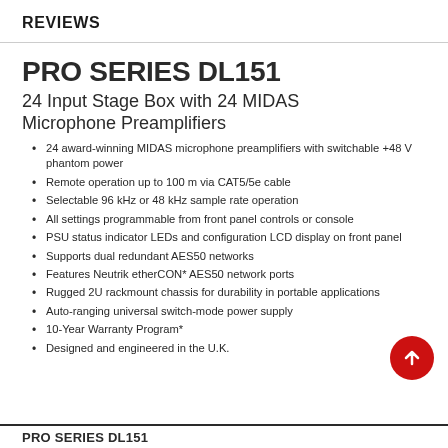REVIEWS
PRO SERIES DL151
24 Input Stage Box with 24 MIDAS Microphone Preamplifiers
24 award-winning MIDAS microphone preamplifiers with switchable +48 V phantom power
Remote operation up to 100 m via CAT5/5e cable
Selectable 96 kHz or 48 kHz sample rate operation
All settings programmable from front panel controls or console
PSU status indicator LEDs and configuration LCD display on front panel
Supports dual redundant AES50 networks
Features Neutrik etherCON* AES50 network ports
Rugged 2U rackmount chassis for durability in portable applications
Auto-ranging universal switch-mode power supply
10-Year Warranty Program*
Designed and engineered in the U.K.